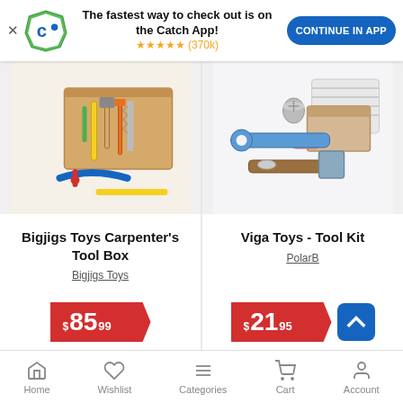[Figure (screenshot): App download banner with Catch.com.au logo, text 'The fastest way to check out is on the Catch App!', five star rating (370k), and 'CONTINUE IN APP' button]
[Figure (photo): Bigjigs Toys Carpenter's Tool Box product photo - wooden toy tool kit with tools]
Bigjigs Toys Carpenter's Tool Box
Bigjigs Toys
$85.99
[Figure (photo): Viga Toys - Tool Kit product photo - wooden toy tools with screws and hammer]
Viga Toys - Tool Kit
PolarB
$21.95
Home   Wishlist   Categories   Cart   Account